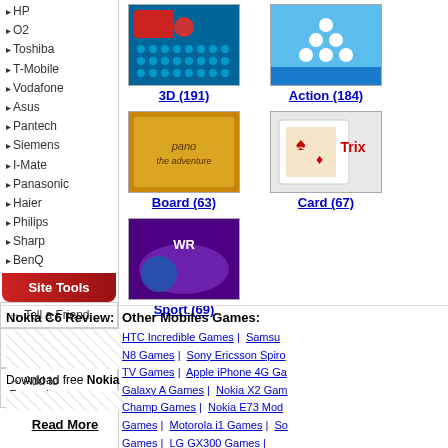▸HP
▸O2
▸Toshiba
▸T-Mobile
▸Vodafone
▸Asus
▸Pantech
▸Siemens
▸I-Mate
▸Panasonic
▸Haier
▸Philips
▸Sharp
▸BenQ
Site Tools
→ Tell a Friend
→ Your Comments
→ Add to Favourite
[Figure (screenshot): 3D game thumbnail]
3D (191)
[Figure (screenshot): Action game thumbnail - bowling]
Action (184)
[Figure (screenshot): Board game thumbnail]
Board (63)
[Figure (screenshot): Card game thumbnail - Trix]
Card (67)
[Figure (screenshot): Sport game thumbnail]
Sport (69)
Nokia C6 Review:
Download free Nokia
Read More
Other Mobiles Games:
HTC Incredible Games | Samsung N8 Games | Sony Ericsson Spiro TV Games | Apple iPhone 4G Games | Galaxy A Games | Nokia X2 Games | Champ Games | Nokia E73 Mode Games | Motorola i1 Games | Samsung Games | LG GX300 Games |